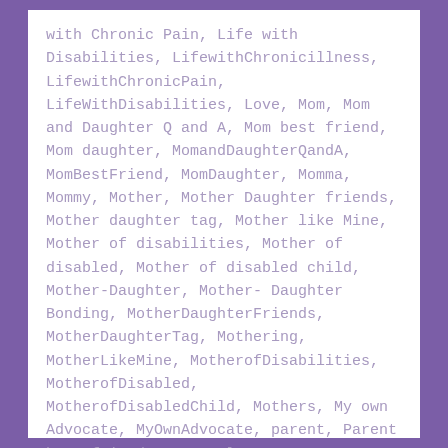with Chronic Pain, Life with Disabilities, LifewithChronicillness, LifewithChronicPain, LifeWithDisabilities, Love, Mom, Mom and Daughter Q and A, Mom best friend, Mom daughter, MomandDaughterQandA, MomBestFriend, MomDaughter, Momma, Mommy, Mother, Mother Daughter friends, Mother daughter tag, Mother like Mine, Mother of disabilities, Mother of disabled, Mother of disabled child, Mother-Daughter, Mother-Daughter Bonding, MotherDaughterFriends, MotherDaughterTag, Mothering, MotherLikeMine, MotherofDisabilities, MotherofDisabled, MotherofDisabledChild, Mothers, My own Advocate, MyOwnAdvocate, parent, Parent best friend, parentals, ParentBestFriend, parenting, parents, Parents of Disabilities,